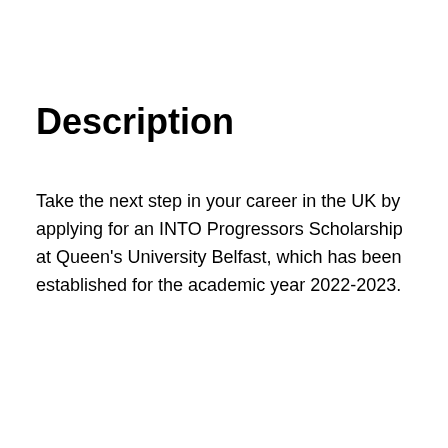Description
Take the next step in your career in the UK by applying for an INTO Progressors Scholarship at Queen's University Belfast, which has been established for the academic year 2022-2023.